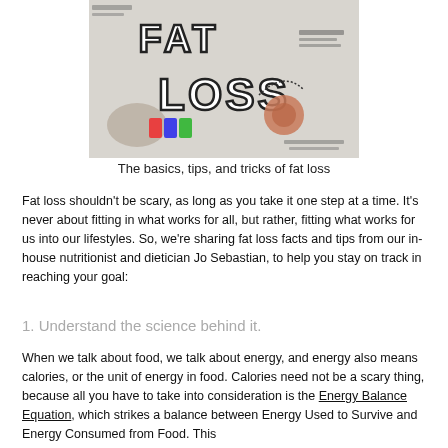[Figure (photo): Image showing 'FAT LOSS' text with food items and nutrition-related materials arranged around it]
The basics, tips, and tricks of fat loss
Fat loss shouldn't be scary, as long as you take it one step at a time. It's never about fitting in what works for all, but rather, fitting what works for us into our lifestyles. So, we're sharing fat loss facts and tips from our in-house nutritionist and dietician Jo Sebastian, to help you stay on track in reaching your goal:
1. Understand the science behind it.
When we talk about food, we talk about energy, and energy also means calories, or the unit of energy in food. Calories need not be a scary thing, because all you have to take into consideration is the Energy Balance Equation, which strikes a balance between Energy Used to Survive and Energy Consumed from Food. This